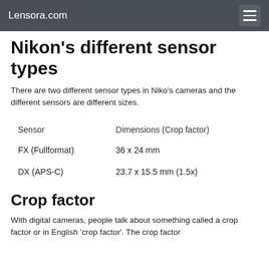Lensora.com
Nikon's different sensor types
There are two different sensor types in Niko's cameras and the different sensors are different sizes.
| Sensor | Dimensions (Crop factor) |
| --- | --- |
| FX (Fullformat) | 36 x 24 mm |
| DX (APS-C) | 23.7 x 15.5 mm (1.5x) |
Crop factor
With digital cameras, people talk about something called a crop factor or in English 'crop factor'. The crop factor